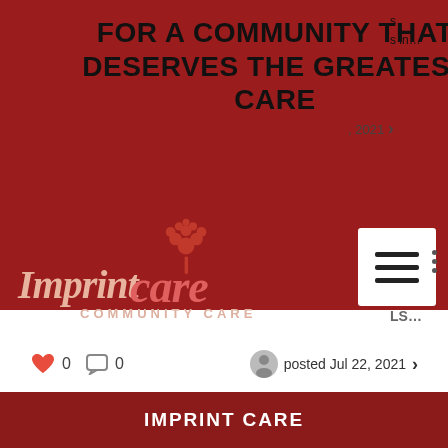FOR A COMMUNITY THAT DESERVES THE GREATEST CARE
[Figure (logo): Imprint Care Community Care logo with red floral tree icon and cursive/sans-serif text on dark red background]
0   0   posted Jul 22, 2021 >
LS...
· Aug 12, 2021
+27788889342 POWERFUL LOST LOVE SPELL CASTER AND FORTUNE TELLE…
0   0   posted Aug 12, 2021 >
IMPRINT CARE